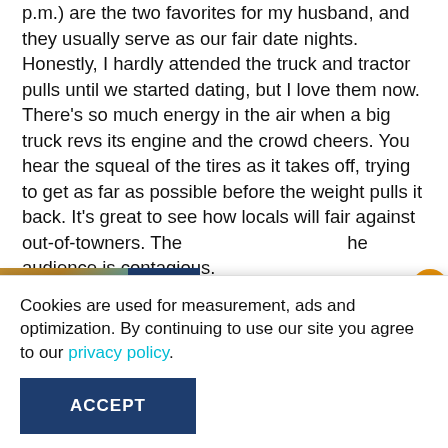p.m.) are the two favorites for my husband, and they usually serve as our fair date nights. Honestly, I hardly attended the truck and tractor pulls until we started dating, but I love them now. There's so much energy in the air when a big truck revs its engine and the crowd cheers. You hear the squeal of the tires as it takes off, trying to get as far as possible before the weight pulls it back. It's great to see how locals will fair against out-of-towners. The ...he audience is contagious.
[Figure (other): South Shore advertisement banner with landscape image and logo]
Cookies are used for measurement, ads and optimization. By continuing to use our site you agree to our privacy policy.
ACCEPT
be featured, and everything at Earín Nights is